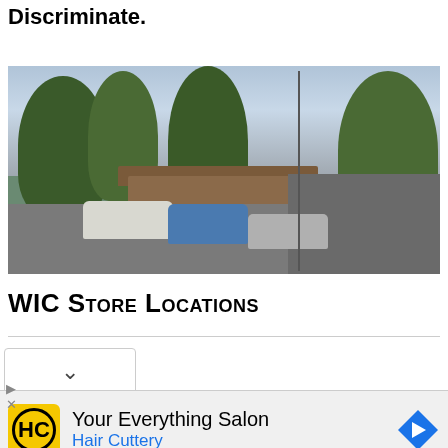Washington State WIC Nutrition Program Doesn't Discriminate.
[Figure (photo): Street-level photo of a WIC store location showing parking lot with cars, trees, and a low building under a cloudy sky]
WIC Store Locations
[Figure (screenshot): Dropdown UI element with a chevron/arrow indicating a collapsible section]
[Figure (infographic): Advertisement for Hair Cuttery salon - Your Everything Salon - with yellow HC logo and blue navigation arrow icon]